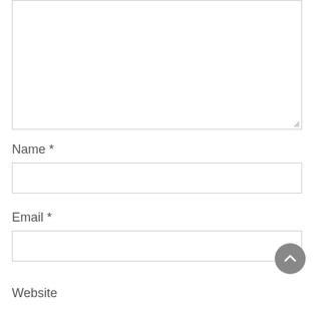[Figure (other): Large empty textarea input box with resize handle at bottom-right corner]
Name *
[Figure (other): Single-line text input box for Name field]
Email *
[Figure (other): Single-line text input box for Email field]
Website